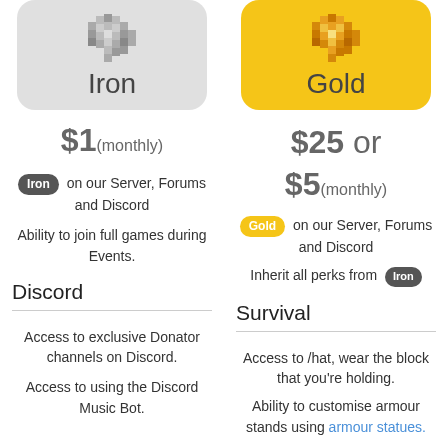[Figure (illustration): Iron tier badge - gray rounded square with pixel art heart and text 'Iron']
$1(monthly)
Iron on our Server, Forums and Discord
Ability to join full games during Events.
Discord
Access to exclusive Donator channels on Discord.
Access to using the Discord Music Bot.
[Figure (illustration): Gold tier badge - yellow rounded square with pixel art gold heart and text 'Gold']
$25 or $5(monthly)
Gold on our Server, Forums and Discord
Inherit all perks from Iron
Survival
Access to /hat, wear the block that you're holding.
Ability to customise armour stands using armour statues.